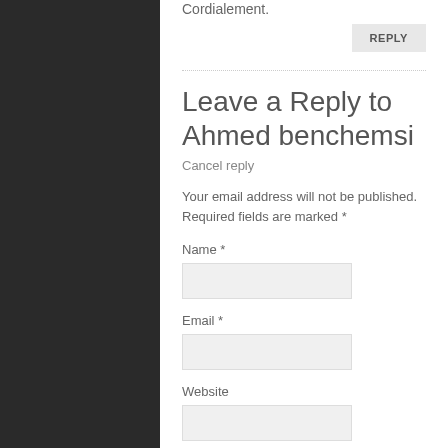Cordialement.
REPLY
Leave a Reply to Ahmed benchemsi
Cancel reply
Your email address will not be published. Required fields are marked *
Name *
Email *
Website
Comment